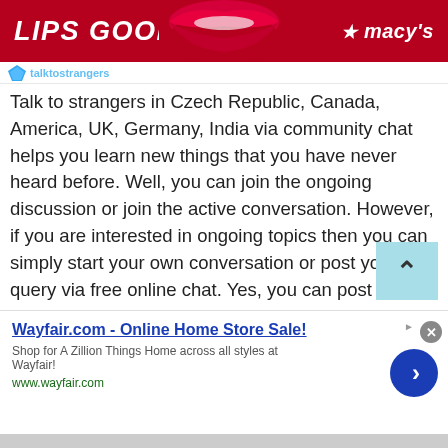[Figure (other): Macy's advertisement banner with red lips image on left and Macy's star logo on right, red background with text LIPS GOODBYE]
Talk to strangers in Czech Republic, Canada, America, UK, Germany, India via community chat
Talk to strangers in Czech Republic, Canada, America, UK, Germany, India via community chat helps you learn new things that you have never heard before. Well, you can join the ongoing discussion or join the active conversation. However, if you are interested in ongoing topics then you can simply start your own conversation or post your query via free online chat. Yes, you can post your topic of interest and start getting opinions or suggestions from different parts of the world.

Well, this can be much easier and convenient to get
[Figure (other): Wayfair.com advertisement banner - Online Home Store Sale! with blue title, description text, URL and right arrow button]